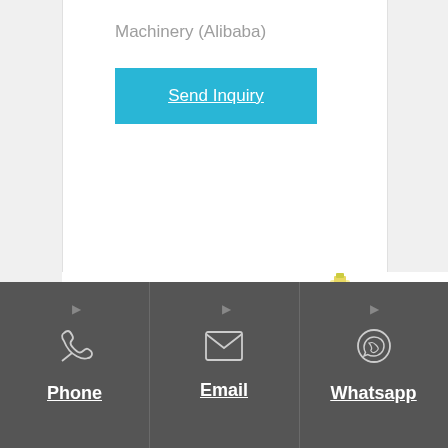Machinery (Alibaba)
Send Inquiry
[Figure (photo): Partial product images visible at bottom of white content area: a small blue control panel/machine on the left, and an oil bottle with yellow corn on the right]
Phone | Email | Whatsapp